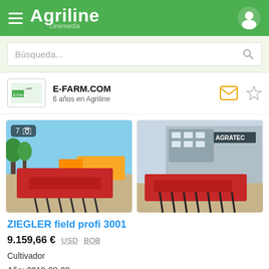Agriline Linemedia
Búsqueda...
E-FARM.COM
6 años en Agriline
[Figure (photo): Red ZIEGLER field cultivator in an outdoor equipment yard with yellow machinery in background, photo count badge showing 7]
[Figure (photo): Red ZIEGLER field cultivator parked in front of AGRATEC building]
ZIEGLER field profi 3001
9.159,66 €  USD  BOB
Cultivador
Año: 2019-08-08